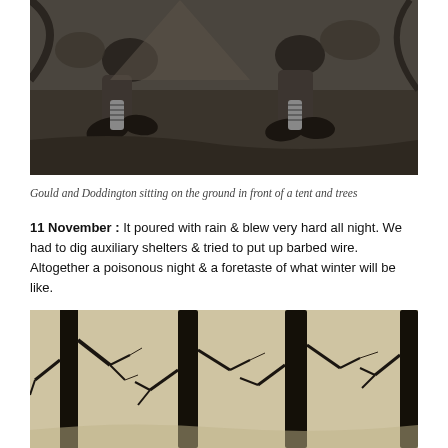[Figure (photo): Black and white photograph of Gould and Doddington sitting on the ground in front of a tent and trees]
Gould and Doddington sitting on the ground in front of a tent and trees
11 November : It poured with rain & blew very hard all night. We had to dig auxiliary shelters & tried to put up barbed wire. Altogether a poisonous night & a foretaste of what winter will be like.
[Figure (photo): Black and white photograph of bare winter trees with dark trunks against a light background]